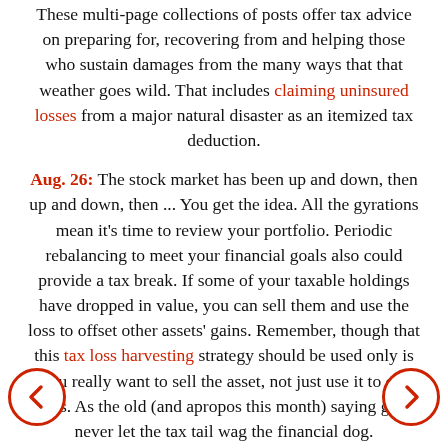These multi-page collections of posts offer tax advice on preparing for, recovering from and helping those who sustain damages from the many ways that that weather goes wild. That includes claiming uninsured losses from a major natural disaster as an itemized tax deduction.
Aug. 26: The stock market has been up and down, then up and down, then ... You get the idea. All the gyrations mean it's time to review your portfolio. Periodic rebalancing to meet your financial goals also could provide a tax break. If some of your taxable holdings have dropped in value, you can sell them and use the loss to offset other assets' gains. Remember, though that this tax loss harvesting strategy should be used only is you really want to sell the asset, not just use it to cut taxes. As the old (and apropos this month) saying goes, never let the tax tail wag the financial dog.
Aug. 31: If you've already filed your 2020 taxes, were you surprised by either the size of your refund or how much you owed? If so, now's the time to make sure that doesn't happen next year. The IRS' online